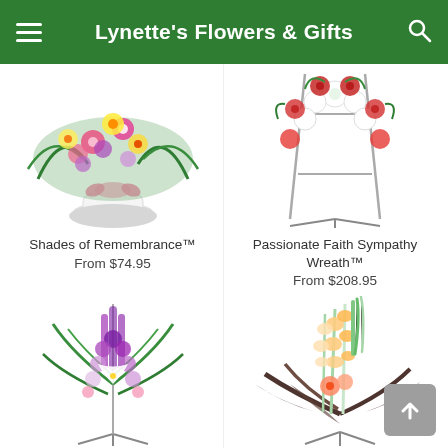Lynette's Flowers & Gifts
[Figure (photo): Shades of Remembrance floral arrangement: colorful pink, yellow, and purple flowers in a white vase with pink bow]
Shades of Remembrance™
From $74.95
[Figure (photo): Passionate Faith Sympathy Wreath: red and white flowers on a metal easel stand]
Passionate Faith Sympathy Wreath™
From $208.95
[Figure (photo): Tall purple and white floral standing spray arrangement on a metal stand]
[Figure (photo): Peach and cream gladiolus standing spray with tropical foliage on a metal stand]